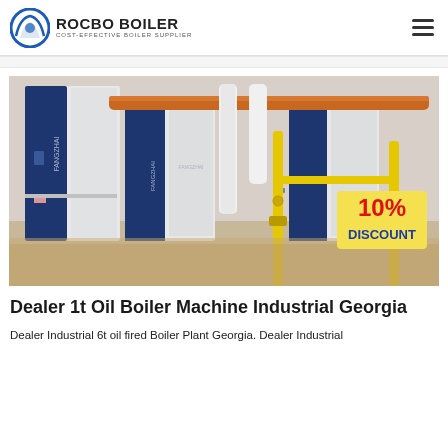ROCBO BOILER — COST-EFFECTIVE BOILER SUPPLIER
[Figure (photo): Industrial boiler room showing multiple large white and navy blue FANGZHAI brand boilers with orange and yellow pipe systems, with a '10% DISCOUNT' badge overlaid in bottom-right corner.]
Dealer 1t Oil Boiler Machine Industrial Georgia
Dealer Industrial 6t oil fired Boiler Plant Georgia. Dealer Industrial